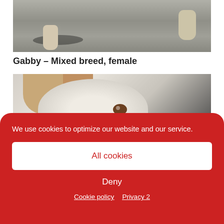[Figure (photo): Close-up photo of a dog's paws and legs on a concrete/asphalt surface with shadow visible]
Gabby – Mixed breed, female
[Figure (photo): Close-up photo of a white mixed breed dog lying down, looking up at the camera with brown eyes and fluffy fur with tan ear tips]
We use cookies to optimize our website and our service.
All cookies
Deny
Cookie policy  Privacy 2